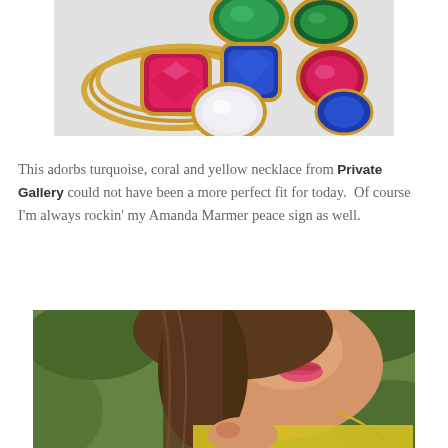[Figure (photo): Gold bangle bracelets with colorful gemstones — green, pink/magenta, blue, and white stones — photographed against a light grey background.]
This adorbs turquoise, coral and yellow necklace from Private Gallery could not have been a more perfect fit for today.  Of course I'm always rockin' my Amanda Marmer peace sign as well.
[Figure (photo): Close-up photo of a young woman with long brown wavy hair, pink lips, wearing a yellow outfit and a gold chain necklace, against a blurred green leafy background.]